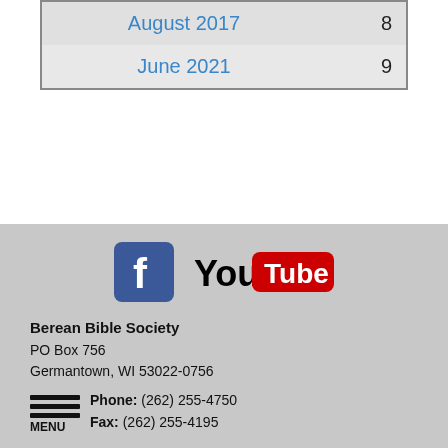| Date | Page |
| --- | --- |
| August 2017 | 8 |
| June 2021 | 9 |
[Figure (logo): Facebook logo (blue square with white 'f') and YouTube logo (You + red Tube rectangle with white text)]
Berean Bible Society
PO Box 756
Germantown, WI 53022-0756
Phone: (262) 255-4750
Fax: (262) 255-4195